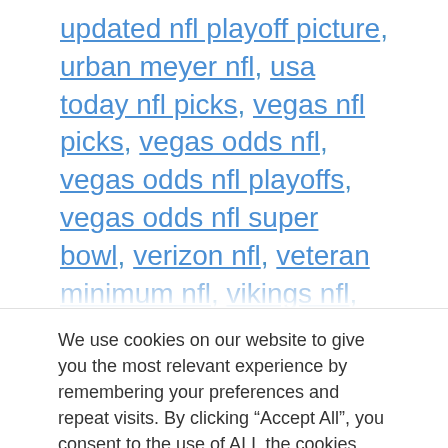updated nfl playoff picture, urban meyer nfl, usa today nfl picks, vegas nfl picks, vegas odds nfl, vegas odds nfl playoffs, vegas odds nfl super bowl, verizon nfl, veteran minimum nfl, vikings nfl, vipbox nfl, vipleague nfl, volokit nfl, what are the nfl standings, what is nfl sunday ticket, what is the nfl playoff schedule, what nfl games are on today,
We use cookies on our website to give you the most relevant experience by remembering your preferences and repeat visits. By clicking “Accept All”, you consent to the use of ALL the cookies. However, you may visit "Cookie Settings" to provide a controlled consent.